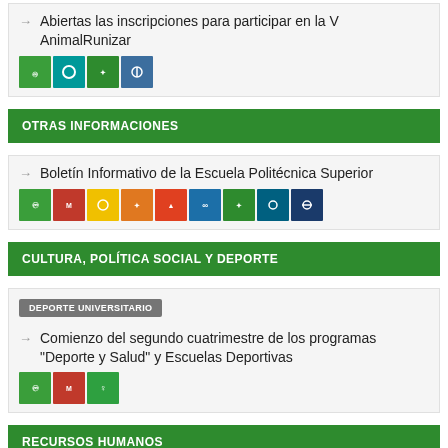Abiertas las inscripciones para participar en la V AnimalRunizar
[Figure (infographic): Row of 4 SDG icon badges (green, teal, green, blue-grey)]
OTRAS INFORMACIONES
Boletín Informativo de la Escuela Politécnica Superior
[Figure (infographic): Row of 9 SDG icon badges (green, red, yellow, orange, red-orange, blue, navy, teal, dark-blue)]
CULTURA, POLÍTICA SOCIAL Y DEPORTE
DEPORTE UNIVERSITARIO
Comienzo del segundo cuatrimestre de los programas "Deporte y Salud" y Escuelas Deportivas
[Figure (infographic): Row of 3 SDG icon badges (green, red, green)]
RECURSOS HUMANOS